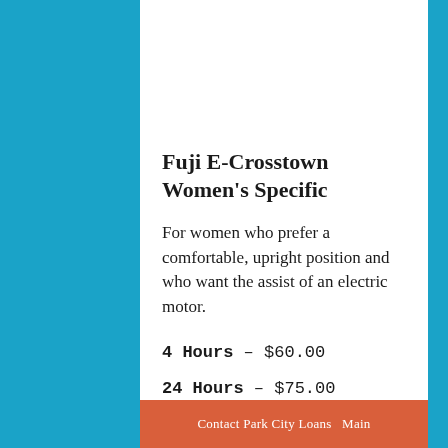Fuji E-Crosstown Women's Specific
For women who prefer a comfortable, upright position and who want the assist of an electric motor.
4 Hours – $60.00
24 Hours – $75.00
Contact Park City Loans Main